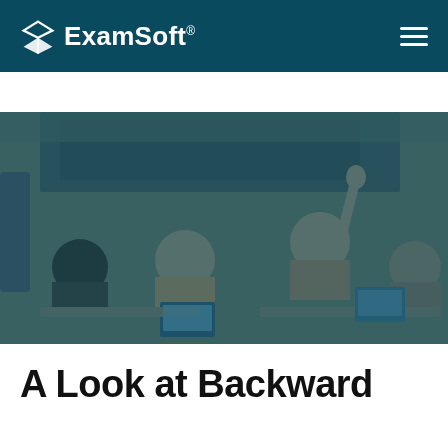ExamSoft
[Figure (photo): Classroom scene showing students at desks with laptops, one student raising their hand, and an instructor at the front near a large screen. The image has a dark teal overlay.]
A Look at Backward